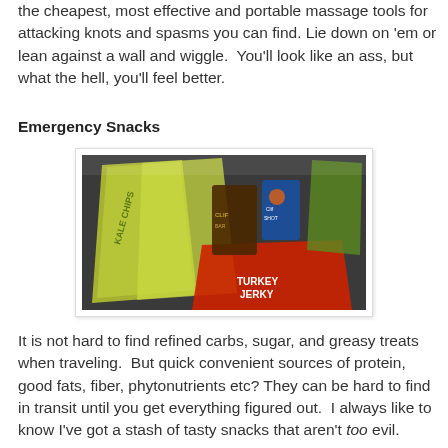the cheapest, most effective and portable massage tools for attacking knots and spasms you can find. Lie down on 'em or lean against a wall and wiggle.  You'll look like an ass, but what the hell, you'll feel better.
Emergency Snacks
[Figure (photo): Photo of various portable snack packages including kale chips, turkey jerky, Clif bars, and other packaged snacks spread out on a dark surface.]
It is not hard to find refined carbs, sugar, and greasy treats when traveling.  But quick convenient sources of protein, good fats, fiber, phytonutrients etc? They can be hard to find in transit until you get everything figured out.  I always like to know I've got a stash of tasty snacks that aren't too evil.